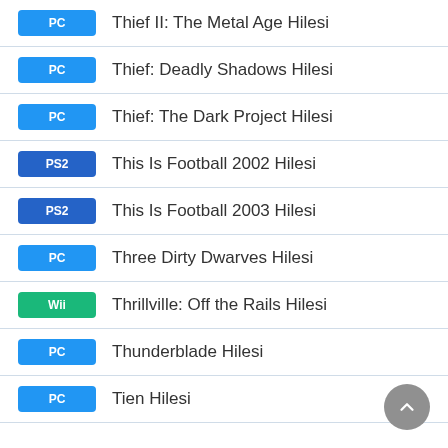PC  Thief II: The Metal Age Hilesi
PC  Thief: Deadly Shadows Hilesi
PC  Thief: The Dark Project Hilesi
PS2  This Is Football 2002 Hilesi
PS2  This Is Football 2003 Hilesi
PC  Three Dirty Dwarves Hilesi
Wii  Thrillville: Off the Rails Hilesi
PC  Thunderblade Hilesi
PC  Tien Hilesi